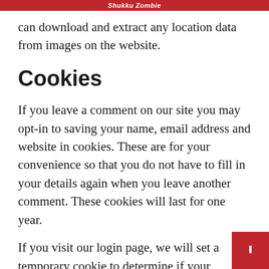Shukku Zombie
can download and extract any location data from images on the website.
Cookies
If you leave a comment on our site you may opt-in to saving your name, email address and website in cookies. These are for your convenience so that you do not have to fill in your details again when you leave another comment. These cookies will last for one year.
If you visit our login page, we will set a temporary cookie to determine if your browser accepts cookies. This cookie contains no personal data and is discarded when you close your browser.
When you log in, we will also set up several cookies